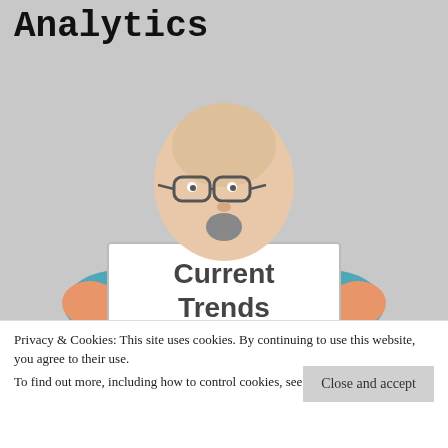Analytics
[Figure (illustration): Cartoon illustration of a bald man with glasses and a goatee, wearing a teal shirt, holding a large white sign that reads 'Current Trends In Analytics']
Privacy & Cookies: This site uses cookies. By continuing to use this website, you agree to their use.
To find out more, including how to control cookies, see here: Cookie Policy
Close and accept